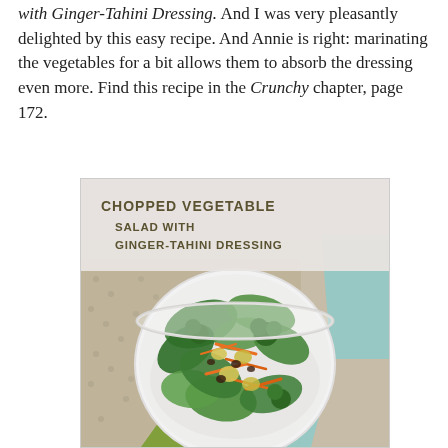with Ginger-Tahini Dressing. And I was very pleasantly delighted by this easy recipe. And Annie is right: marinating the vegetables for a bit allows them to absorb the dressing even more. Find this recipe in the Crunchy chapter, page 172.
[Figure (photo): A white bowl filled with a colorful chopped vegetable salad including green leafy vegetables, shredded carrots, broccoli, and other vegetables. The bowl sits on a burlap/woven mat with teal and olive green cloth napkins. Text overlay reads: CHOPPED VEGETABLE SALAD WITH GINGER-TAHINI DRESSING.]